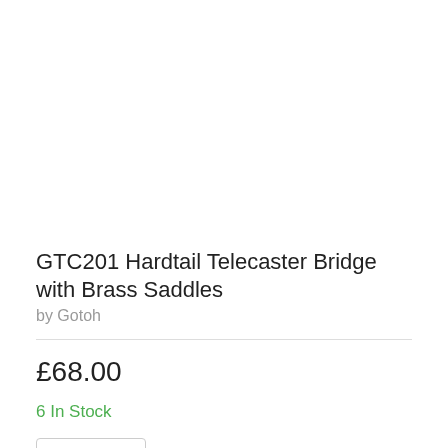[Figure (photo): White/blank product image area for GTC201 Hardtail Telecaster Bridge with Brass Saddles]
GTC201 Hardtail Telecaster Bridge with Brass Saddles
by Gotoh
£68.00
6 In Stock